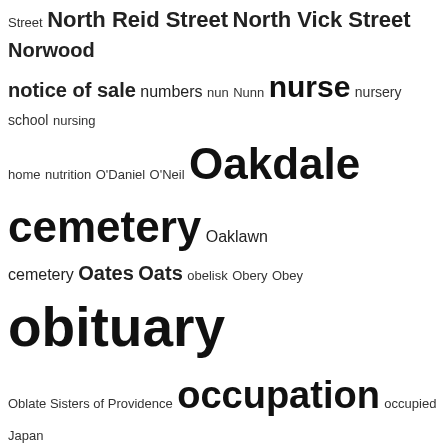[Figure (infographic): A tag cloud / word cloud showing genealogy and local history index terms. Terms appear in varying font sizes indicating their relative frequency or importance. Terms include: Street, North Reid Street, North Vick Street, Norwood, notice of sale, numbers, nun, Nunn, nurse, nursery school, nursing home, nutrition, O'Daniel, O'Neil, Oakdale cemetery, Oaklawn cemetery, Oates, Oats, obelisk, Obery, Obey, obituary, Oblate Sisters of Providence, occupation, occupied Japan, octogenarian, Odd Fellows, Odd Fellows cemetery, Odd Fellows Cemt, Odum, Office of State Archaeology, oil mill, Oklahoma, Old Fields township, Oliver Moore, Omega Psi Phi fraternity, one-place study, one-room school, Opelika AL, opera house, Oral History, oral interview, orange, Orange Hotel, orator, orchestra, Order of Elks, organist, organized labor, organizing campaign, orphan, osnaburg, Ottis, outbuilding, outhouse, Outlaw, outreach, Owen L.W. Smith, Owens, Oxford Colored Orphanage, oysters, P.T.A., Pace, Page, pageant, painter, Palmer, palmist, Palm Sunday, Pamlico County NC, pandemic, paperboy, parade, pardon, Parent-Teacher Association, parents, Parish, park, Parker, Parks, parochial school, Parrington, parsonage, partition, passenger list, passing, passport, pastor, pasture, Pate, paternalism, paternity]